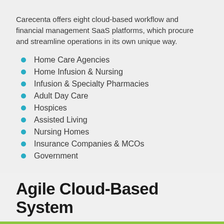Carecenta offers eight cloud-based workflow and financial management SaaS platforms, which procure and streamline operations in its own unique way.
Home Care Agencies
Home Infusion & Nursing
Infusion & Specialty Pharmacies
Adult Day Care
Hospices
Assisted Living
Nursing Homes
Insurance Companies & MCOs
Government
Agile Cloud-Based System